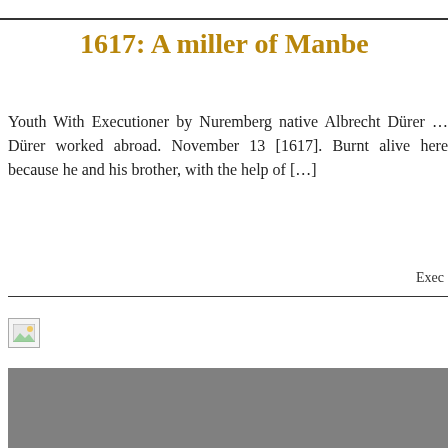1617: A miller of Manbe…
Youth With Executioner by Nuremberg native Albrecht Dürer … Dürer worked abroad. November 13 [1617]. Burnt alive here because he and his brother, with the help of […]
Exec…
[Figure (photo): Broken image placeholder icon (small, top-left of lower section)]
[Figure (photo): Large gray rectangular image placeholder filling the bottom portion of the page]